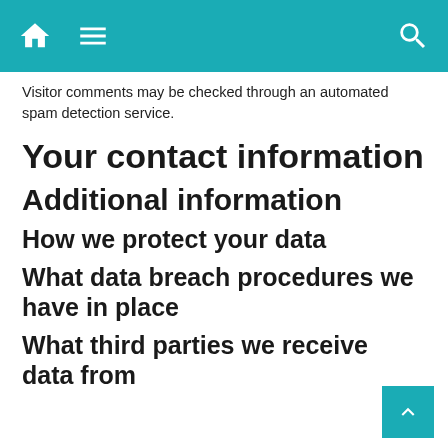Visitor comments may be checked through an automated spam detection service.
Your contact information
Additional information
How we protect your data
What data breach procedures we have in place
What third parties we receive data from